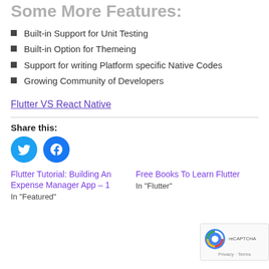Some More Features:
Built-in Support for Unit Testing
Built-in Option for Themeing
Support for writing Platform specific Native Codes
Growing Community of Developers
Flutter VS React Native
Share this:
[Figure (infographic): Twitter and Facebook share buttons as circular icons]
Flutter Tutorial: Building An Expense Manager App – 1
In "Featured"
Free Books To Learn Flutter
In "Flutter"